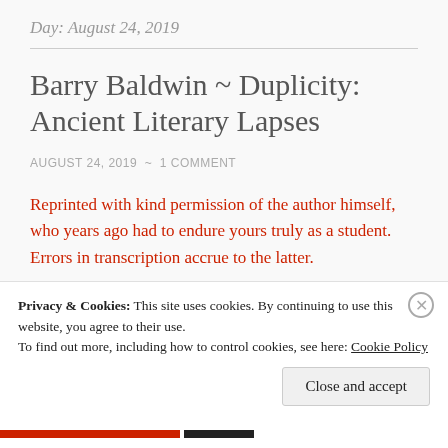Day: August 24, 2019
Barry Baldwin ~ Duplicity: Ancient Literary Lapses
AUGUST 24, 2019  ~  1 COMMENT
Reprinted with kind permission of the author himself, who years ago had to endure yours truly as a student. Errors in transcription accrue to the latter.
Privacy & Cookies: This site uses cookies. By continuing to use this website, you agree to their use.
To find out more, including how to control cookies, see here: Cookie Policy
Close and accept